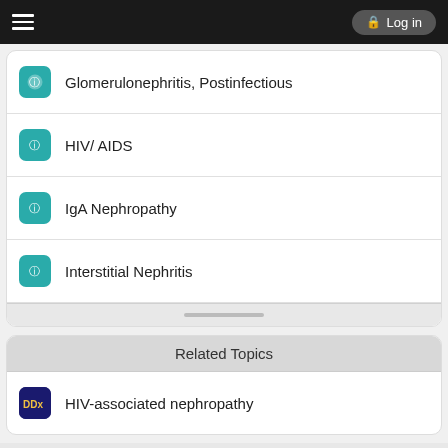Log in
Glomerulonephritis, Postinfectious
HIV/ AIDS
IgA Nephropathy
Interstitial Nephritis
Related Topics
HIV-associated nephropathy
Enjoying Medicine Central?
Purchase a subscription
I'm already a subscriber